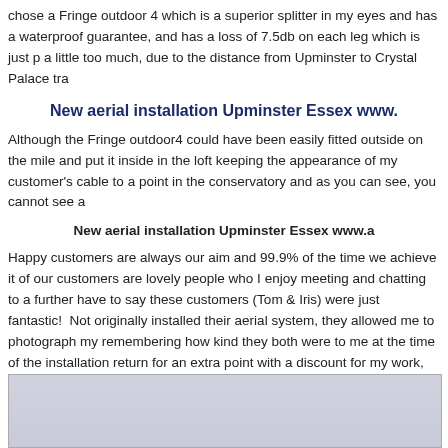chose a Fringe outdoor 4 which is a superior splitter in my eyes and has a waterproof guarantee, and has a loss of 7.5db on each leg which is just p a little too much, due to the distance from Upminster to Crystal Palace tr
New aerial installation Upminster Essex www.
Although the Fringe outdoor4 could have been easily fitted outside on the mile and put it inside in the loft keeping the appearance of my customer's cable to a point in the conservatory and as you can see, you cannot see a
New aerial installation Upminster Essex www.a
Happy customers are always our aim and 99.9% of the time we achieve it of our customers are lovely people who I enjoy meeting and chatting to a further have to say these customers (Tom & Iris) were just fantastic!  Not originally installed their aerial system, they allowed me to photograph my remembering how kind they both were to me at the time of the installation return for an extra point with a discount for my work, but the insisted on g do but was appreciated enormously, Thanks Guys.
[Figure (photo): Light grey/blue gradient placeholder image at the bottom of the page]